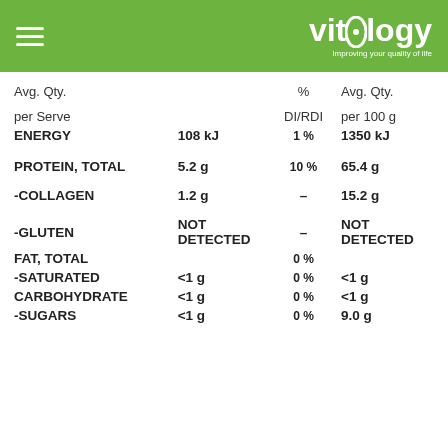Vitology — Improving your quality of life
| Avg. Qty. per Serve | %DI/RDI | Avg. Qty. per 100 g |
| --- | --- | --- |
| ENERGY | 108 kJ | 1 % | 1350 kJ |
| PROTEIN, TOTAL | 5.2 g | 10 % | 65.4 g |
| -COLLAGEN | 1.2 g | – | 15.2 g |
| -GLUTEN | NOT DETECTED | – | NOT DETECTED |
| FAT, TOTAL |  | 0 % |  |
| -SATURATED | <1 g | 0 % | <1 g |
| CARBOHYDRATE | <1 g | 0 % | <1 g |
| -SUGARS | <1 g | 0 % | 9.0 g |